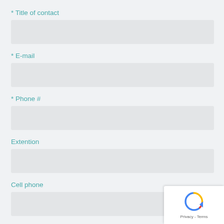* Title of contact
* E-mail
* Phone #
Extention
Cell phone